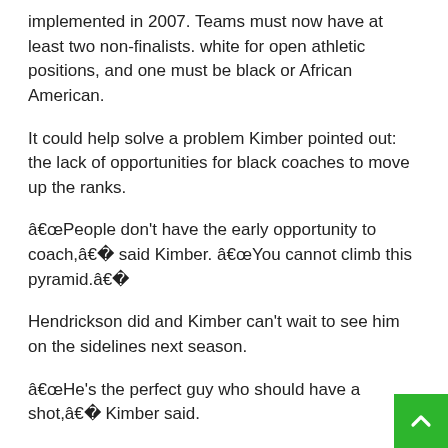implemented in 2007. Teams must now have at least two non-finalists. white for open athletic positions, and one must be black or African American.
It could help solve a problem Kimber pointed out: the lack of opportunities for black coaches to move up the ranks.
â€œPeople don’t have the early opportunity to coach,â€� said Kimber. â€œYou cannot climb this pyramid.â€�
Hendrickson did and Kimber can’t wait to see him on the sidelines next season.
â€œHe’s the perfect guy who should have a shot,â€� Kimber said.
Related Posts:
Jim Ellis Automotive Group Launches Annual Holiday Giving Campaign to Help Break Cycle of Poverty